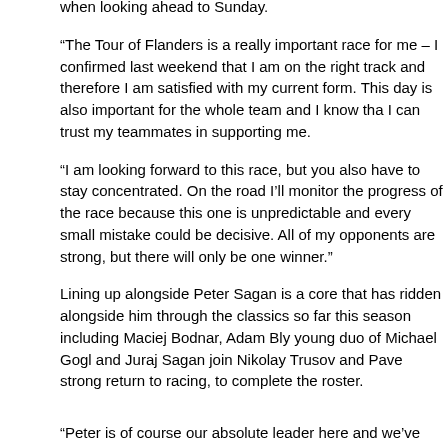when looking ahead to Sunday.
“The Tour of Flanders is a really important race for me – I confirmed last weekend that I am on the right track and therefore I am satisfied with my current form. This day is also important for the whole team and I know tha I can trust my teammates in supporting me.
“I am looking forward to this race, but you also have to stay concentrated. On the road I’ll monitor the progress of the race because this one is unpredictable and every small mistake could be decisive. All of my opponents are strong, but there will only be one winner.”
Lining up alongside Peter Sagan is a core that has ridden alongside him through the classics so far this season including Maciej Bodnar, Adam Bly young duo of Michael Gogl and Juraj Sagan join Nikolay Trusov and Pave strong return to racing, to complete the roster.
“Peter is of course our absolute leader here and we’ve built a team around far as possible into the race,” explained Sport Director for Sunday, Tristan race into three sections – the first 100km, the second 100km and then the riders to be able to support and look after Peter in each section.”
Juraj Sagan will line up alongside his brother at his first Tour of Flanders a riders, he has worked hard to prove his place on the team here. With Osca got what it takes to be there late in the day with Sagan, the Tinkoff line-up
“From the start on, depending on the wind situation it can be fast and a big so we will need to pay attention there. When you look at the classics so fa big teams that are missing a big win and we can expect them to try and di